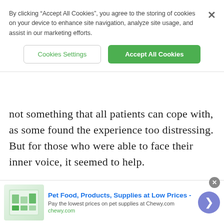By clicking “Accept All Cookies”, you agree to the storing of cookies on your device to enhance site navigation, analyze site usage, and assist in our marketing efforts.
Cookies Settings | Accept All Cookies
not something that all patients can cope with, as some found the experience too distressing. But for those who were able to face their inner voice, it seemed to help.
Search for
1. HOW TO STOP RINGING IN EARS
Pet Food, Products, Supplies at Low Prices - Pay the lowest prices on pet supplies at Chewy.com chewy.com